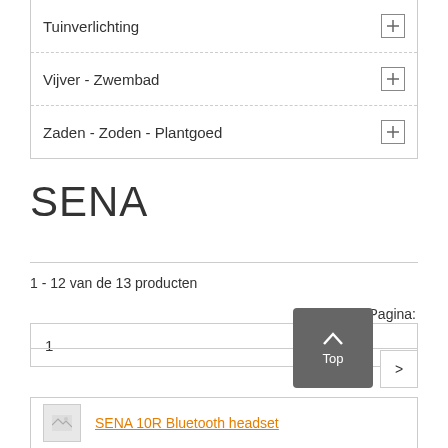Tuinverlichting
Vijver - Zwembad
Zaden - Zoden - Plantgoed
SENA
1 - 12 van de 13 producten
Pagina:
1
Top
>
SENA 10R Bluetooth headset